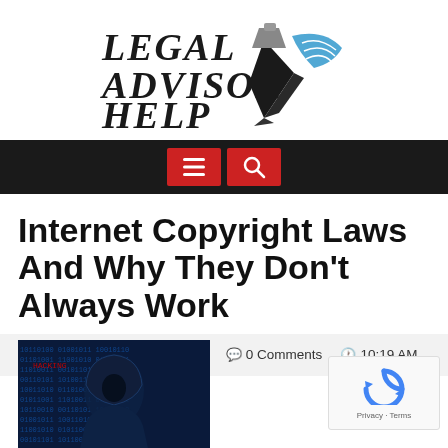[Figure (logo): Legal Advisor Help logo with pen nib icon and blue swoosh]
[Figure (other): Navigation bar with hamburger menu and search icons on dark background]
Internet Copyright Laws And Why They Don't Always Work
2018-09-21  WebEditor  0 Comments  10:19 AM
[Figure (photo): Hacker in hoodie with binary code overlay on dark blue background]
[Figure (other): reCAPTCHA widget with Privacy and Terms links]